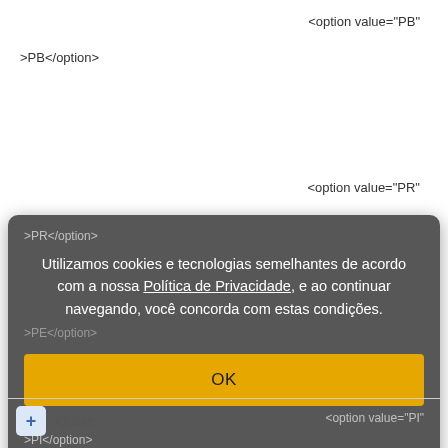<option value="PB"
>PB</option>
<option value="PR"
[Figure (screenshot): Cookie consent modal dialog with dark grey background. Contains Portuguese text: 'Utilizamos cookies e tecnologias semelhantes de acordo com a nossa Política de Privacidade, e ao continuar navegando, você concorda com estas condições.' with an OK button in yellow. Code fragments visible: >PR</option>, >PE</option>, <option value="PI", >PI</option>.]
+ Quote